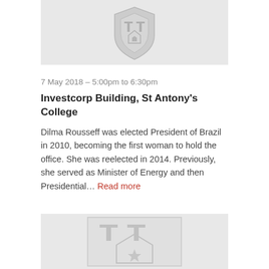[Figure (logo): St Antony's College shield/crest logo placeholder in grey, partially visible at top]
7 May 2018 – 5:00pm to 6:30pm
Investcorp Building, St Antony's College
Dilma Rousseff was elected President of Brazil in 2010, becoming the first woman to hold the office. She was reelected in 2014. Previously, she served as Minister of Energy and then Presidential... Read more
[Figure (logo): St Antony's College shield/crest logo placeholder in grey, partially visible at bottom]